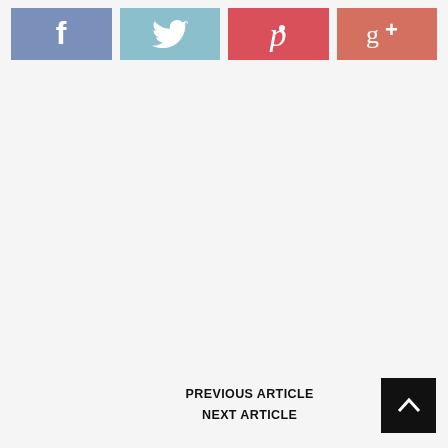[Figure (infographic): Social media share buttons row: Facebook (blue-gray), Twitter (light blue), Pinterest (red), Google+ (salmon/coral)]
PREVIOUS ARTICLE
NEXT ARTICLE
[Figure (infographic): Back to top button: black square with white upward-pointing chevron/arrow]